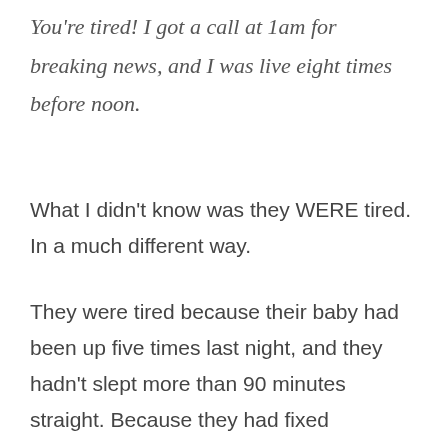You're tired! I got a call at 1am for breaking news, and I was live eight times before noon.
What I didn't know was they WERE tired. In a much different way.
They were tired because their baby had been up five times last night, and they hadn't slept more than 90 minutes straight. Because they had fixed breakfast, then snack, then lunch, then more snacks, then dinner, only to be left at 9pm with a dirty kitchen that smelled like a combination of spoiled milk and